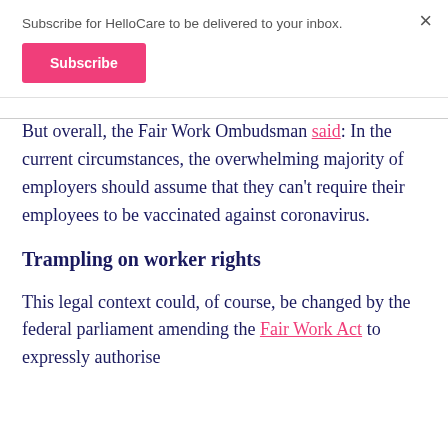Subscribe for HelloCare to be delivered to your inbox.
Subscribe
But overall, the Fair Work Ombudsman said: In the current circumstances, the overwhelming majority of employers should assume that they can't require their employees to be vaccinated against coronavirus.
Trampling on worker rights
This legal context could, of course, be changed by the federal parliament amending the Fair Work Act to expressly authorise